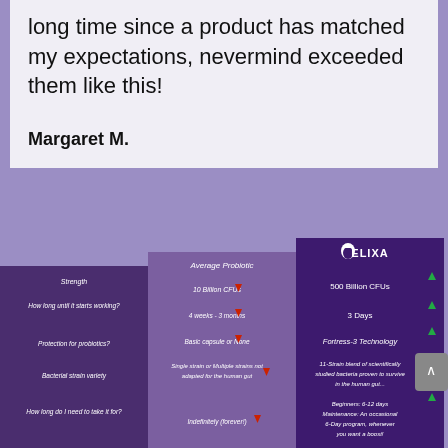long time since a product has matched my expectations, nevermind exceeded them like this!
Margaret M.
[Figure (table-as-image): Comparison table between Average Probiotic and Elixa probiotic showing: Strength (10 Billion CFUs vs 500 Billion CFUs), How long until it starts working? (4 weeks - 3 months vs 3 Days), Protection for probiotics? (Basic capsule or None vs Fortress-3 Technology), Bacterial strain variety (Single strain or Multiple strains not adapted for the human gut vs 11-Strain blend of scientifically studied bacteria proven to survive in the human gut), How long do I need to take it for? (Indefinitely (forever!) vs Beginners: 6-12 days Maintenance: An occasional 6-Day program, whenever you want a boost!)]